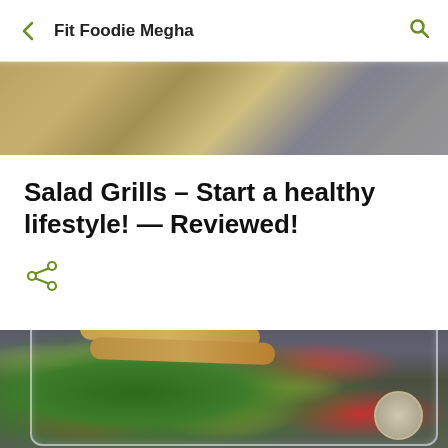Fit Foodie Megha
[Figure (photo): Blurred background food photo at the top of the article]
Salad Grills – Start a healthy lifestyle! — Reviewed!
[Figure (photo): Overhead photo of a salad in a clear plastic container with breadsticks on top, featuring mixed greens, cherry tomatoes, yellow bell peppers, radishes, quinoa, and a small dressing container]